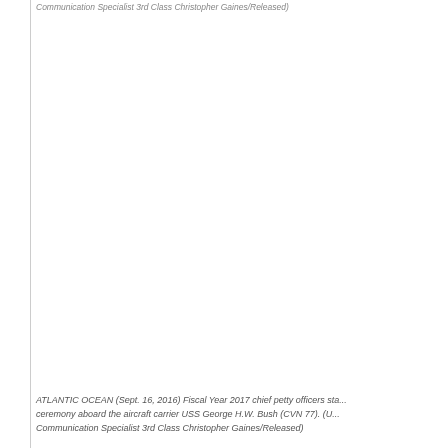Communication Specialist 3rd Class Christopher Gaines/Released)
[Figure (photo): Photo area (white/blank) showing military ceremony aboard USS George H.W. Bush aircraft carrier]
ATLANTIC OCEAN (Sept. 16, 2016) Fiscal Year 2017 chief petty officers sta... ceremony aboard the aircraft carrier USS George H.W. Bush (CVN 77). (U... Communication Specialist 3rd Class Christopher Gaines/Released)